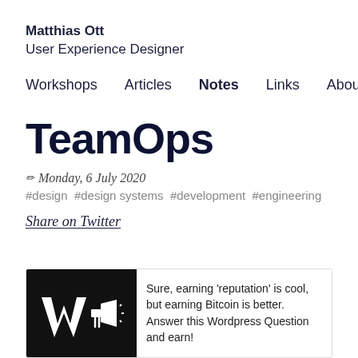Matthias Ott
User Experience Designer
Workshops  Articles  Notes  Links  About
TeamOps
✏ Monday, 6 July 2020
#design #design systems #development #engineering
Share on Twitter
[Figure (other): Advertisement box with dark background showing logos (stylized W and megaphone icon) and text: Sure, earning 'reputation' is cool, but earning Bitcoin is better. Answer this Wordpress Question and earn!]